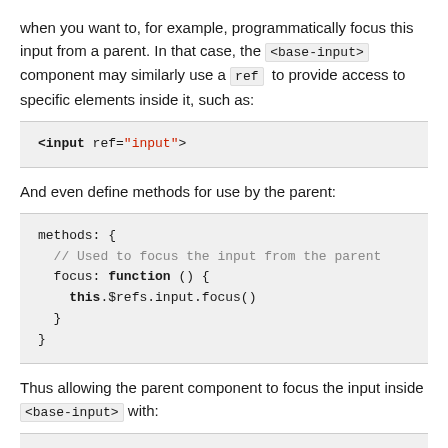when you want to, for example, programmatically focus this input from a parent. In that case, the <base-input> component may similarly use a ref to provide access to specific elements inside it, such as:
<input ref="input">
And even define methods for use by the parent:
methods: {
  // Used to focus the input from the parent
  focus: function () {
    this.$refs.input.focus()
  }
}
Thus allowing the parent component to focus the input inside <base-input> with:
this.$refs.usernameInput.focus()